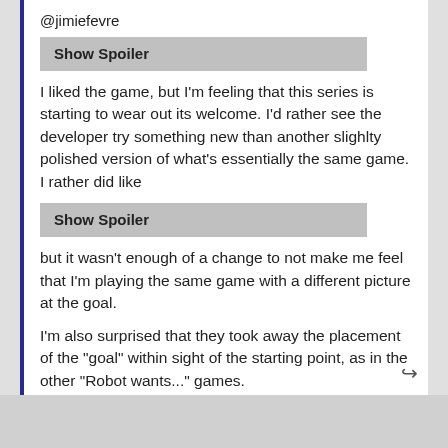@jimiefevre
Show Spoiler
I liked the game, but I'm feeling that this series is starting to wear out its welcome. I'd rather see the developer try something new than another slighlty polished version of what's essentially the same game. I rather did like
Show Spoiler
but it wasn't enough of a change to not make me feel that I'm playing the same game with a different picture at the goal.
I'm also surprised that they took away the placement of the "goal" within sight of the starting point, as in the other "Robot wants..." games.